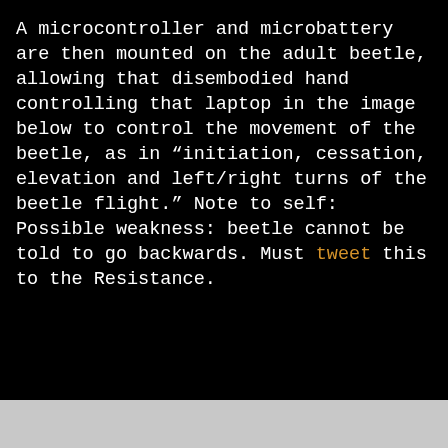A microcontroller and microbattery are then mounted on the adult beetle, allowing that disembodied hand controlling that laptop in the image below to control the movement of the beetle, as in “initiation, cessation, elevation and left/right turns of the beetle flight.” Note to self: Possible weakness: beetle cannot be told to go backwards. Must tweet this to the Resistance.